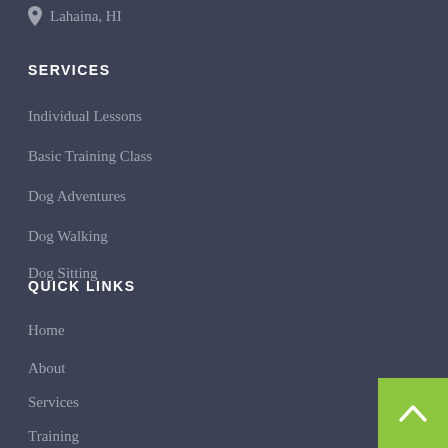Lahaina, HI
SERVICES
Individual Lessons
Basic Training Class
Dog Adventures
Dog Walking
Dog Sitting
QUICK LINKS
Home
About
Services
Training
FAQ
YouTube